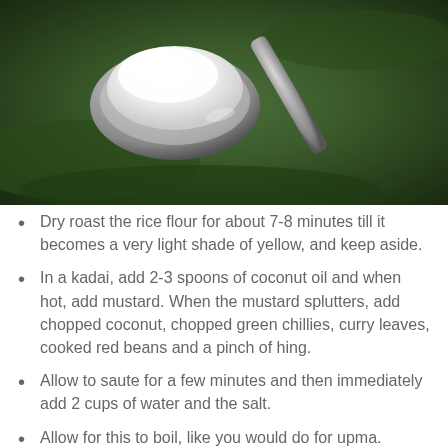[Figure (photo): Close-up photo of a metal spoon holding white rice flour powder against a dark green leafy background]
Dry roast the rice flour for about 7-8 minutes till it becomes a very light shade of yellow, and keep aside.
In a kadai, add 2-3 spoons of coconut oil and when hot, add mustard. When the mustard splutters, add chopped coconut, chopped green chillies, curry leaves, cooked red beans and a pinch of hing.
Allow to saute for a few minutes and then immediately add 2 cups of water and the salt.
Allow for this to boil, like you would do for upma.
Now slowly bring the stove to SIM and add the roasted rice flour little by little.
Use a whisk to bring it all together. You will see that it